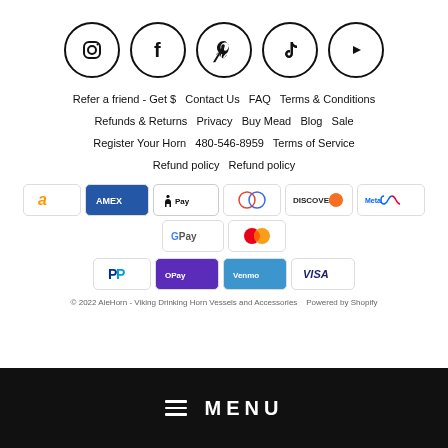[Figure (infographic): Row of 5 social media icons in circles: Instagram, Facebook, Pinterest, TikTok, YouTube]
Refer a friend - Get $   Contact Us   FAQ   Terms & Conditions
Refunds & Returns   Privacy   Buy Mead   Blog   Sale
Register Your Horn   480-546-8959   Terms of Service
Refund policy   Refund policy
[Figure (infographic): Payment method icons: Amazon, Amex, Apple Pay, Diners Club, Discover, Meta Pay, Google Pay, Mastercard, PayPal, OPay, Venmo, Visa]
© 2022 AleHorn - Viking Drinking Horn Vessels and Accessories   Powered by Shopify
≡ MENU